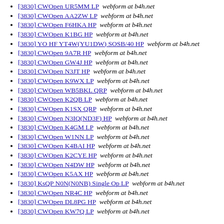[3830] CWOpen UR5MM LP  webform at b4h.net
[3830] CWOpen AA2ZW LP  webform at b4h.net
[3830] CWOpen F6HKA HP  webform at b4h.net
[3830] CWOpen K1BG HP  webform at b4h.net
[3830] YO HF YT4W(YU1DW) SOSB/40 HP  webform at b4h.net
[3830] CWOpen 9A7R HP  webform at b4h.net
[3830] CWOpen GW4J HP  webform at b4h.net
[3830] CWOpen N3JT HP  webform at b4h.net
[3830] CWOpen K9WX LP  webform at b4h.net
[3830] CWOpen WB5BKL QRP  webform at b4h.net
[3830] CWOpen K2QB LP  webform at b4h.net
[3830] CWOpen K1SX QRP  webform at b4h.net
[3830] CWOpen N3IQ(ND3F) HP  webform at b4h.net
[3830] CWOpen K4GM LP  webform at b4h.net
[3830] CWOpen W1NN LP  webform at b4h.net
[3830] CWOpen K4BAI HP  webform at b4h.net
[3830] CWOpen K2CYE HP  webform at b4h.net
[3830] CWOpen N4DW HP  webform at b4h.net
[3830] CWOpen K5AX HP  webform at b4h.net
[3830] KsQP N0N(N0NB) Single Op LP  webform at b4h.net
[3830] CWOpen NR4C HP  webform at b4h.net
[3830] CWOpen DL8PG HP  webform at b4h.net
[3830] CWOpen KW7Q LP  webform at b4h.net